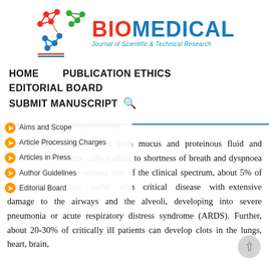[Figure (logo): Biomedical Journal of Scientific & Technical Research logo with molecular network graphic in red, blue, and green on the left, and BIOMEDICAL text in red/blue bold with subtitle in teal on the right.]
HOME    PUBLICATION ETHICS
EDITORIAL BOARD
SUBMIT MANUSCRIPT  🔍
Aims and Scope
Article Processing Charges
Articles in Press
Author Guidelines
Editorial Board
severe infection affecting both lungs. The air sacs become filled with mucus and proteinous fluid and infiltrated by immune calls leading to shortness of breath and dyspnoea and hypoxia. On the serious side of the clinical spectrum, about 5% of all COVID-19 cases suffer with critical disease with extensive damage to the airways and the alveoli, developing into severe pneumonia or acute respiratory distress syndrome (ARDS). Further, about 20-30% of critically ill patients can develop clots in the lungs, heart, brain,